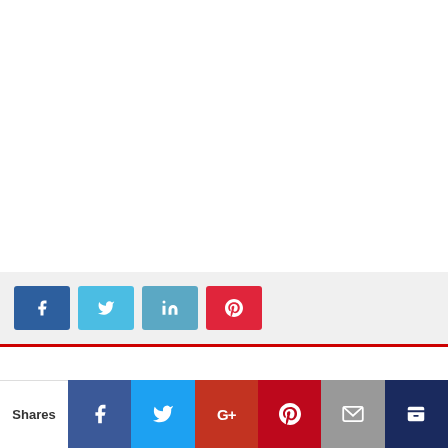[Figure (other): White blank area (content above the fold, likely an article body or image placeholder)]
Social share buttons: Facebook, Twitter, LinkedIn, Pinterest
Previous
Demystifying economic devolution – from 'Looking East' to 'Being East'
Shares — Facebook, Twitter, Google+, Pinterest, Email, Bookmark